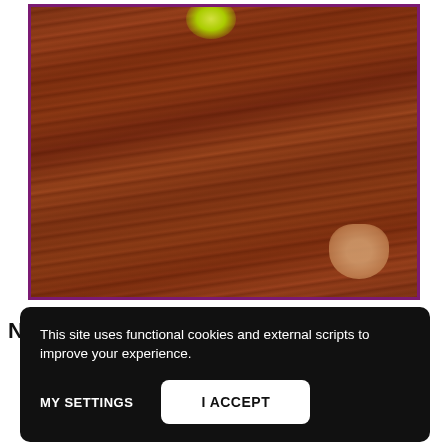[Figure (photo): Close-up photo of a wooden surface (wood grain texture in reddish-brown tones) with a bright yellow-green object at the top center and a partial view of a finger/thumb in the bottom right corner. The image is framed with a purple border.]
No touch! These are mine – incredible
This site uses functional cookies and external scripts to improve your experience.
MY SETTINGS    I ACCEPT